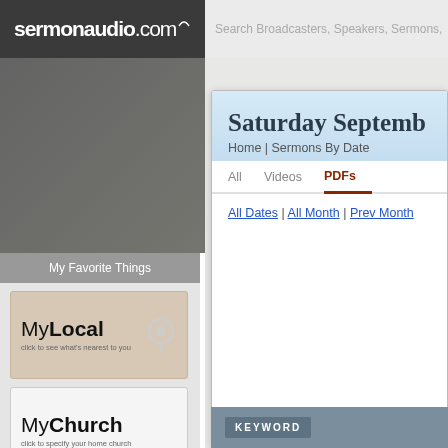sermonaudio.com | Search Broadcasters, Speakers, Sermons,
[Figure (screenshot): SermonAudio.com website banner with text: JOINT RESOLUTION OF UNITED PR / FOR THE REVIVAL OF RELIGION & ADVANC]
My Favorite Things
[Figure (logo): MyLocal logo with map pin icon and text: click to see what's nearest to you]
[Figure (logo): MyChurch logo with text: click to specify your home church]
Home
Newsroom, ALL
Events | Notices | Blogs
Newest Audio | Video | Clips
Saturday Septemb
Home | Sermons By Date
All     Videos     PDFs
All Dates | All Month | Prev Month
KEYWORD